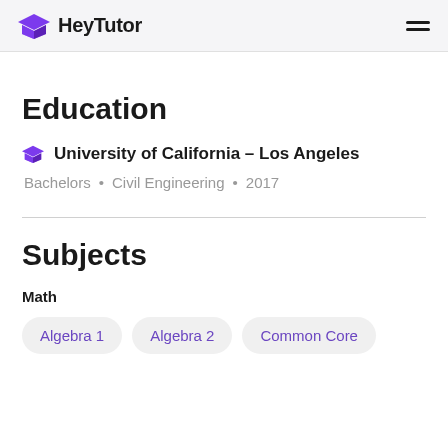HeyTutor
Education
University of California – Los Angeles
Bachelors • Civil Engineering • 2017
Subjects
Math
Algebra 1
Algebra 2
Common Core